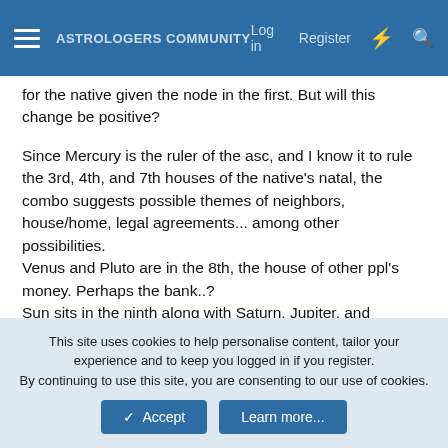ASTROLOGERS COMMUNITY  Log in  Register
for the native given the node in the first. But will this change be positive?
Since Mercury is the ruler of the asc, and I know it to rule the 3rd, 4th, and 7th houses of the native's natal, the combo suggests possible themes of neighbors, house/home, legal agreements... among other possibilities.
Venus and Pluto are in the 8th, the house of other ppl's money. Perhaps the bank..?
Sun sits in the ninth along with Saturn, Jupiter, and Mercury. Mercury is the highest planet in the chart and aforementioned chart ruler, but makes no major aspects except a trine to the n. node. With Sun being in the ninth, is there a move of substantial distance in store? But why all the harsh aspects? The only flowing aspect is a trine to the asc.
This site uses cookies to help personalise content, tailor your experience and to keep you logged in if you register.
By continuing to use this site, you are consenting to our use of cookies.